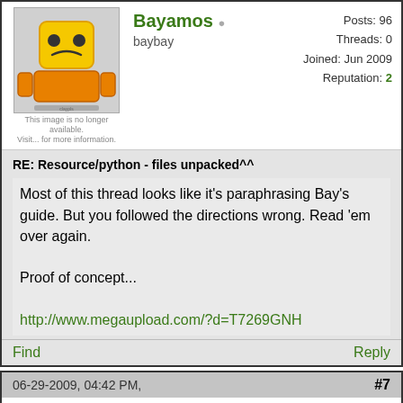Posts: 96
Threads: 0
Joined: Jun 2009
Reputation: 2
Bayamos
baybay
RE: Resource/python - files unpacked^^
Most of this thread looks like it's paraphrasing Bay's guide. But you followed the directions wrong. Read 'em over again.

Proof of concept...

http://www.megaupload.com/?d=T7269GNH
Find
Reply
06-29-2009, 04:42 PM,
#7
rajkosto
Guest
RE: Resource/python - files unpacked^^
i have these little buggers decompiled somewhere...not much info in it tho, just some clientside checks
and i doubt these "serverside" scripts are active now...because look at this
discovery.clientConsolePrint(sentence.subject.locator, "You need the